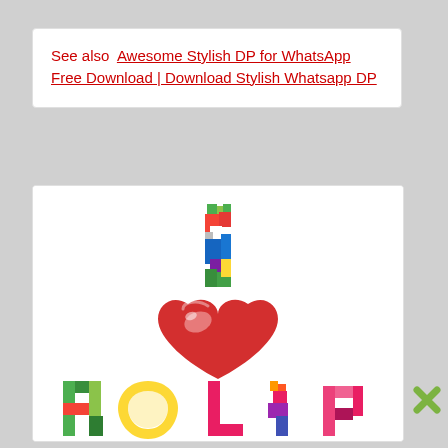See also  Awesome Stylish DP for WhatsApp Free Download | Download Stylish Whatsapp DP
[Figure (illustration): Colorful 'I Love Holi' graphic with a multicolored letter I at the top, a large red heart emoji in the middle, and colorful 'HOLI' text partially visible at the bottom]